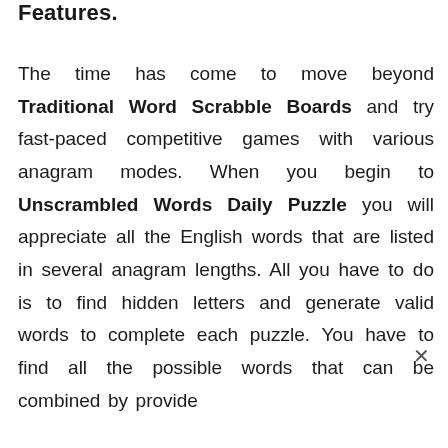Features:
The time has come to move beyond Traditional Word Scrabble Boards and try fast-paced competitive games with various anagram modes. When you begin to Unscrambled Words Daily Puzzle you will appreciate all the English words that are listed in several anagram lengths. All you have to do is to find hidden letters and generate valid words to complete each puzzle. You have to find all the possible words that can be combined by provide